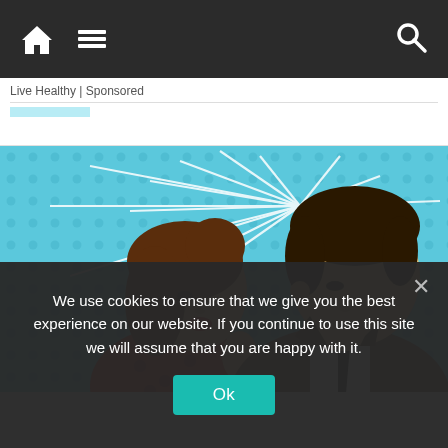navigation bar with home icon, menu icon, search icon
Live Healthy | Sponsored
[Figure (illustration): Pop-art style illustration of a couple about to kiss, woman with brown hair in red polka-dot dress and man in brown suit with tie, on a blue dotted background with white radiating lines]
We use cookies to ensure that we give you the best experience on our website. If you continue to use this site we will assume that you are happy with it.